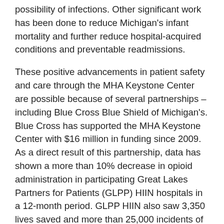possibility of infections. Other significant work has been done to reduce Michigan's infant mortality and further reduce hospital-acquired conditions and preventable readmissions.
These positive advancements in patient safety and care through the MHA Keystone Center are possible because of several partnerships – including Blue Cross Blue Shield of Michigan's. Blue Cross has supported the MHA Keystone Center with $16 million in funding since 2009. As a direct result of this partnership, data has shown a more than 10% decrease in opioid administration in participating Great Lakes Partners for Patients (GLPP) HIIN hospitals in a 12-month period. GLPP HIIN also saw 3,350 lives saved and more than 25,000 incidents of harm avoided while seeing total cost savings of nearly $300 million within hospitalized patients over 42 months.
Having been a practicing anesthesiologist for more than 20 years, Dr. James Grant, Senior Vice President and